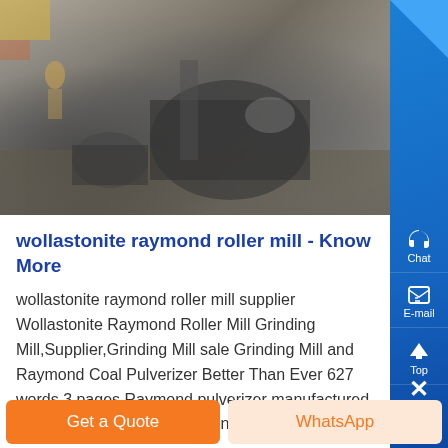[Figure (photo): Industrial machinery photo showing a raymond roller mill or grinding equipment in grayscale tones, with mechanical components visible.]
wollastonite raymond roller mill - Know More
wollastonite raymond roller mill supplier Wollastonite Raymond Roller Mill Grinding Mill,Supplier,Grinding Mill sale Grinding Mill and Raymond Coal Pulverizer Better Than Ever 627 words 3 pages Raymond pulverizer manufactured by Machinery is the major grinding mach